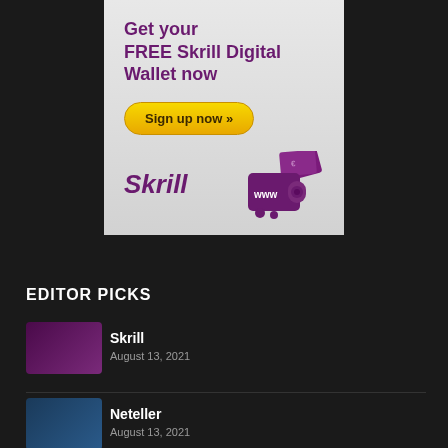[Figure (infographic): Skrill advertisement banner with light gray gradient background. Text: 'Get your FREE Skrill Digital Wallet now', a yellow 'Sign up now »' button, Skrill purple italic logo on lower left, and a purple digital wallet icon with currency symbols and 'www' on the lower right.]
EDITOR PICKS
Skrill
August 13, 2021
Neteller
August 13, 2021